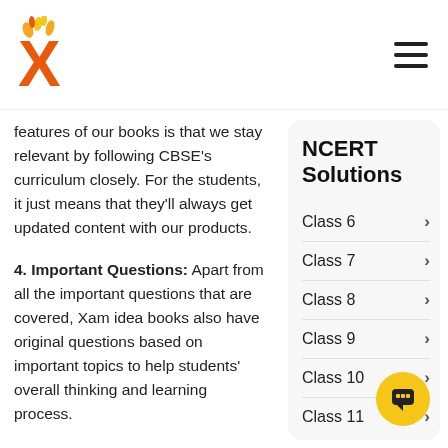Xam Idea logo and navigation
features of our books is that we stay relevant by following CBSE's curriculum closely. For the students, it just means that they'll always get updated content with our products.
4. Important Questions: Apart from all the important questions that are covered, Xam idea books also have original questions based on important topics to help students' overall thinking and learning process.
5 Language Subjects: Language subjects are not like other subjects. They can and are expected to be
NCERT Solutions
Class 6
Class 7
Class 8
Class 9
Class 10
Class 11